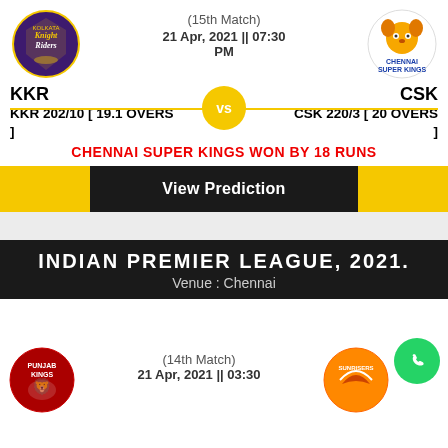(15th Match)
21 Apr, 2021 || 07:30 PM
KKR
KKR 202/10 [ 19.1 OVERS ]
vs
CSK
CSK 220/3 [ 20 OVERS ]
CHENNAI SUPER KINGS WON BY 18 RUNS
View Prediction
INDIAN PREMIER LEAGUE, 2021.
Venue : Chennai
(14th Match)
21 Apr, 2021 || 03:30